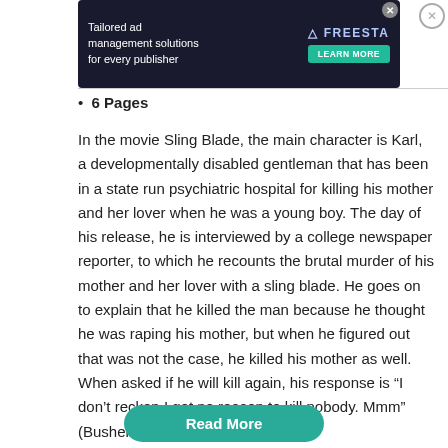[Figure (other): Advertisement banner: 'Tailored ad management solutions for every publisher' with FREESTA logo and LEARN MORE button on dark background]
6 Pages
In the movie Sling Blade, the main character is Karl, a developmentally disabled gentleman that has been in a state run psychiatric hospital for killing his mother and her lover when he was a young boy. The day of his release, he is interviewed by a college newspaper reporter, to which he recounts the brutal murder of his mother and her lover with a sling blade. He goes on to explain that he killed the man because he thought he was raping his mother, but when he figured out that was not the case, he killed his mother as well. When asked if he will kill again, his response is “I don’t reckon I got no reason to kill nobody. Mmm” (Bushell et al.…
Read More